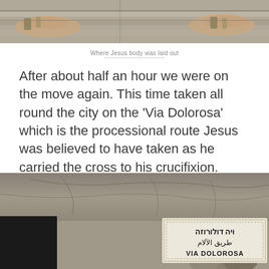[Figure (photo): Close-up photo of a person's hands resting on a flat stone surface, likely the Stone of Unction in the Church of the Holy Sepulchre]
Where Jesus body was laid out
After about half an hour we were on the move again. This time taken all round the city on the ‘Via Dolorosa’ which is the processional route Jesus was believed to have taken as he carried the cross to his crucifixion.
[Figure (photo): Photo of the Via Dolorosa sign on an old stone wall, showing text in Hebrew, Arabic, and English: VIA DOLOROSA]